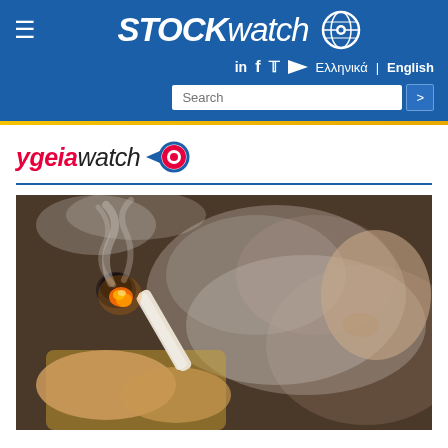STOCKWATCH — navigation header with hamburger menu, logo, social icons, language selector (Ελληνικά | English), and search bar
[Figure (logo): ygeiawatch logo with red stylized eye icon]
[Figure (photo): Close-up photo of a person smoking a cannabis joint, with smoke and flame visible]